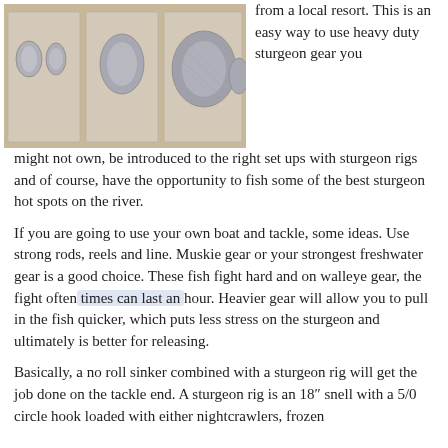[Figure (photo): Three packages of fishing sinkers/weights shown in plastic packaging on a wooden surface]
from a local resort.  This is an easy way to use heavy duty sturgeon gear you might not own, be introduced to the right set ups with sturgeon rigs and of course, have the opportunity to fish some of the best sturgeon hot spots on the river.
If you are going to use your own boat and tackle, some ideas. Use strong rods, reels and line.  Muskie gear or your strongest freshwater gear is a good choice.  These fish fight hard and on walleye gear, the fight often times can last an hour.  Heavier gear will allow you to pull in the fish quicker, which puts less stress on the sturgeon and ultimately is better for releasing.
Basically, a no roll sinker combined with a sturgeon rig will get the job done on the tackle end.  A sturgeon rig is an 18″ snell with a 5/0 circle hook loaded with either nightcrawlers, frozen